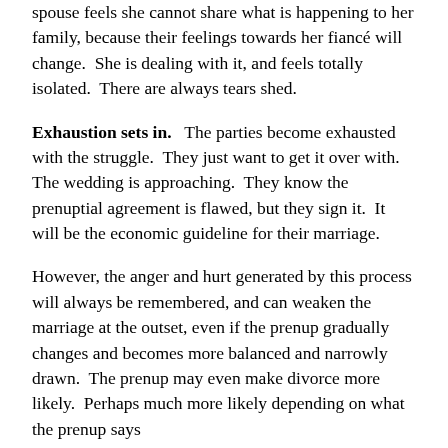spouse feels she cannot share what is happening to her family, because their feelings towards her fiancé will change.  She is dealing with it, and feels totally isolated.  There are always tears shed.
Exhaustion sets in.   The parties become exhausted with the struggle.  They just want to get it over with.  The wedding is approaching.  They know the prenuptial agreement is flawed, but they sign it.  It will be the economic guideline for their marriage.
However, the anger and hurt generated by this process will always be remembered, and can weaken the marriage at the outset, even if the prenup gradually changes and becomes more balanced and narrowly drawn.  The prenup may even make divorce more likely.  Perhaps much more likely depending on what the prenup says